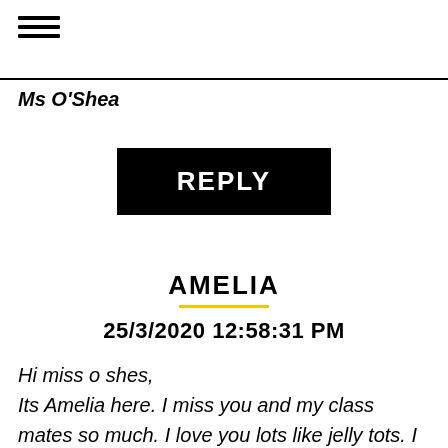≡
Ms O'Shea
[Figure (other): Black REPLY button/banner]
AMELIA
25/3/2020 12:58:31 PM
Hi miss o shes,

Its Amelia here. I miss you and my class mates so much. I love you lots like jelly tots. I